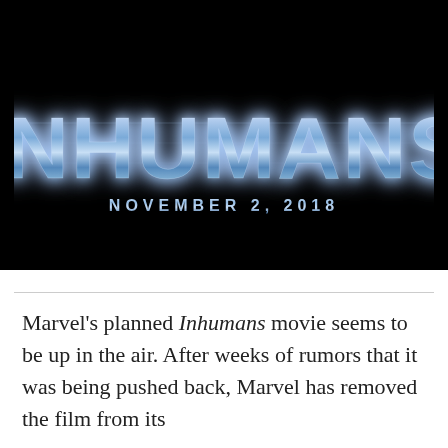[Figure (illustration): Marvel Inhumans movie logo on black background. Large metallic blue-silver stylized text 'INHUMANS' with metallic sheen. Below the logo text reads 'NOVEMBER 2, 2018' in spaced blue-silver lettering.]
Marvel's planned Inhumans movie seems to be up in the air. After weeks of rumors that it was being pushed back, Marvel has removed the film from its